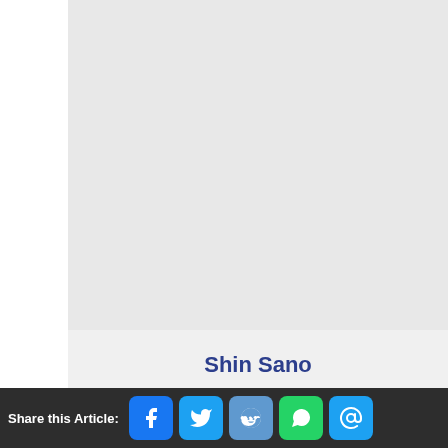[Figure (photo): Profile photo placeholder - large light gray rectangle]
Shin Sano
Gamer Since: 1990
Share this Article: [Facebook] [Twitter] [Reddit] [WhatsApp] [Email]